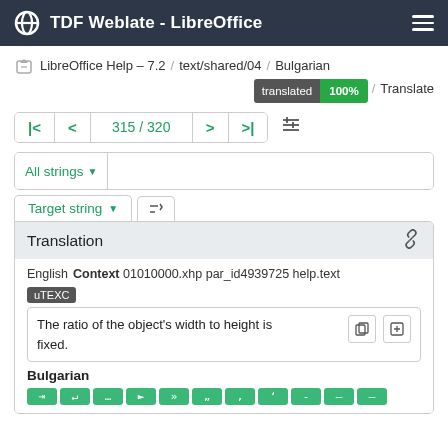TDF Weblate - LibreOffice
LibreOffice Help – 7.2 / text/shared/04 / Bulgarian / Translate  translated 100%
315 / 320
All strings
Target string
Translation
English Context 01010000.xhp par_id4939725 help.text uTEXC
The ratio of the object's width to height is fixed.
Bulgarian